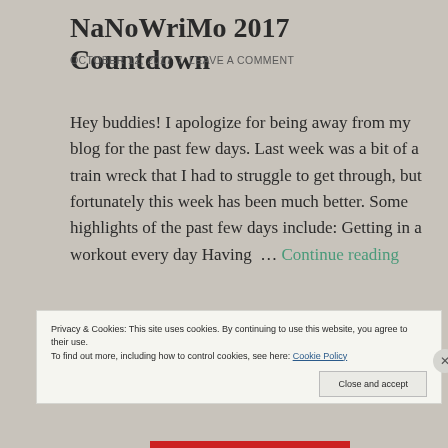NaNoWriMo 2017 Countdown
OCTOBER 12, 2017 / LEAVE A COMMENT
Hey buddies! I apologize for being away from my blog for the past few days. Last week was a bit of a train wreck that I had to struggle to get through, but fortunately this week has been much better. Some highlights of the past few days include: Getting in a workout every day Having … Continue reading
Privacy & Cookies: This site uses cookies. By continuing to use this website, you agree to their use.
To find out more, including how to control cookies, see here: Cookie Policy
Close and accept